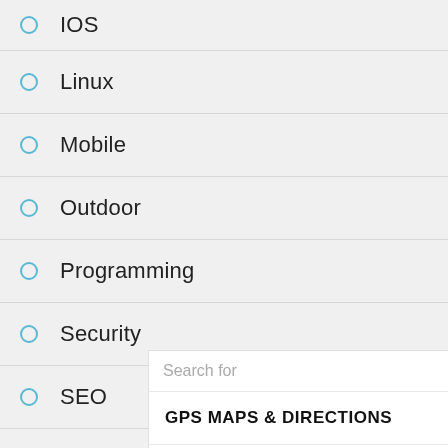IOS
Linux
Mobile
Outdoor
Programming
Security
SEO
Stories
Too
TV
[Figure (screenshot): Ad overlay showing a search bar with 'Search for' placeholder text and an eye icon, followed by two sponsored search result rows: 'GPS MAPS & DIRECTIONS' with arrow and 'SATELLITE LIVE MAPS' with arrow, and a 'Yahoo! Search | Sponsored' footer with a play icon.]